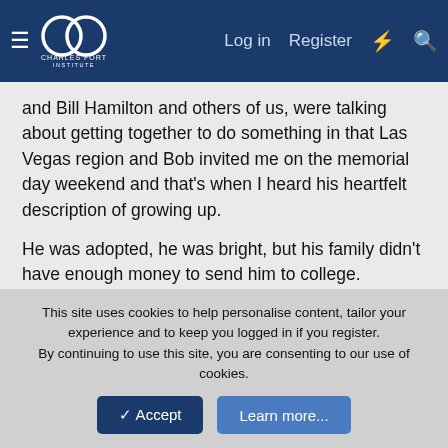Charles Fort Institute — Log in | Register
and Bill Hamilton and others of us, were talking about getting together to do something in that Las Vegas region and Bob invited me on the memorial day weekend and that's when I heard his heartfelt description of growing up.
He was adopted, he was bright, but his family didn't have enough money to send him to college.
He had students who were going to MIT and Harvard, tells me that he never claimed that he got a degree, but that he did go up and sit in on some of the classes that his friends at MIT... and that he had a deep interest in all things electrical.
That eventually, this path of learning something by going to...
This site uses cookies to help personalise content, tailor your experience and to keep you logged in if you register.
By continuing to use this site, you are consenting to our use of cookies.